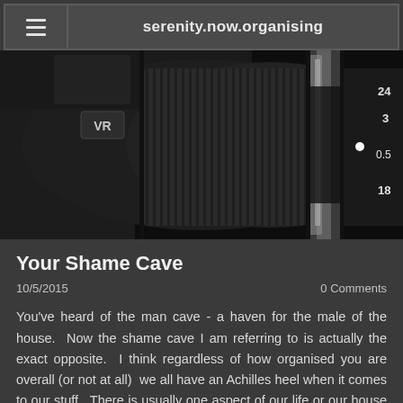serenity.now.organising
[Figure (photo): Close-up photograph of a camera lens showing VR label, focus ring, and aperture markings (200mm 1:3.5-5.6, focal distance scale with numbers 3, 0.5, 18, 24)]
Your Shame Cave
10/5/2015
0 Comments
You've heard of the man cave - a haven for the male of the house.  Now the shame cave I am referring to is actually the exact opposite.  I think regardless of how organised you are overall (or not at all)  we all have an Achilles heel when it comes to our stuff.  There is usually one aspect of our life or our house which is an ongoing challenge to keep